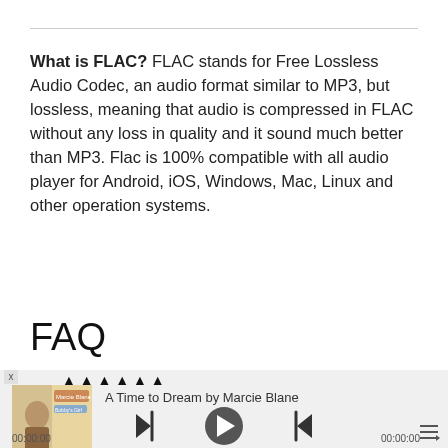What is FLAC? FLAC stands for Free Lossless Audio Codec, an audio format similar to MP3, but lossless, meaning that audio is compressed in FLAC without any loss in quality and it sound much better than MP3. Flac is 100% compatible with all audio player for Android, iOS, Windows, Mac, Linux and other operation systems.
FAQ
[Figure (screenshot): Music player widget showing album art for 'A Time to Dream by Marcie Blane', playback controls (previous, play, next), time display 00:00:00 on both sides, and a menu icon.]